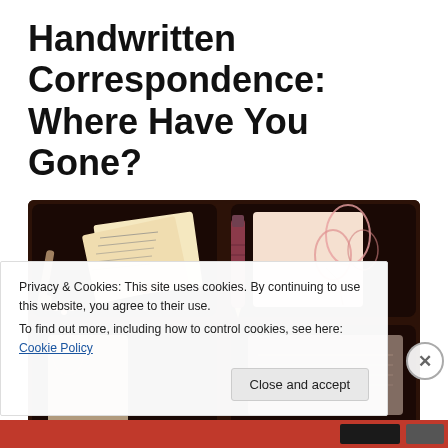Handwritten Correspondence: Where Have You Gone?
[Figure (photo): Collage of handwritten letters, envelopes, a fountain pen, and floral stationery cards arranged on a dark brown background]
Privacy & Cookies: This site uses cookies. By continuing to use this website, you agree to their use.
To find out more, including how to control cookies, see here: Cookie Policy